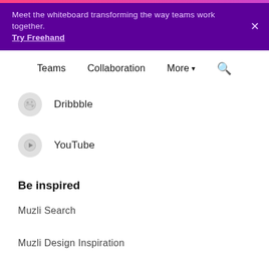Meet the whiteboard transforming the way teams work together. Try Freehand
Teams  Collaboration  More  🔍
Dribbble
YouTube
Be inspired
Muzli Search
Muzli Design Inspiration
Color Palette Generator
Defined by InVision